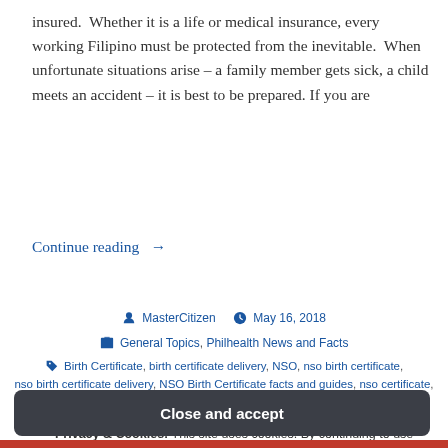insured.  Whether it is a life or medical insurance, every working Filipino must be protected from the inevitable.  When unfortunate situations arise – a family member gets sick, a child meets an accident – it is best to be prepared. If you are
Continue reading →
MasterCitizen  May 16, 2018  General Topics, Philhealth News and Facts
Birth Certificate, birth certificate delivery, NSO, nso birth certificate, nso birth certificate delivery, NSO Birth Certificate facts and guides, nso certificate,
Privacy & Cookies: This site uses cookies. By continuing to use this website, you agree to their use.
To find out more, including how to control cookies, see here: Cookie Policy
Close and accept